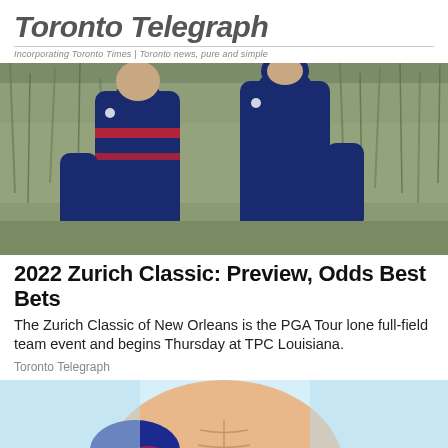Toronto Telegraph — Incorporating Toronto Times | Toronto news, pure and simple
[Figure (photo): Two golfers wearing navy blue long-sleeve shirts with red stripe accents walking side by side, with tall grass/reeds in background]
2022 Zurich Classic: Preview, Odds Best Bets
The Zurich Classic of New Orleans is the PGA Tour lone full-field team event and begins Thursday at TPC Louisiana.
Toronto Telegraph
[Figure (illustration): Illustrated/cartoon style image of a person showing abdominal muscles, light blue background]